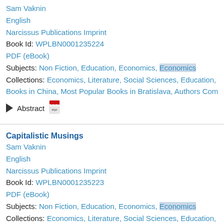Sam Vaknin
English
Narcissus Publications Imprint
Book Id: WPLBN0001235224
PDF (eBook)
Subjects: Non Fiction, Education, Economics, Economics
Collections: Economics, Literature, Social Sciences, Education, Books in China, Most Popular Books in Bratislava, Authors Com
Abstract
Capitalistic Musings
Sam Vaknin
English
Narcissus Publications Imprint
Book Id: WPLBN0001235223
PDF (eBook)
Subjects: Non Fiction, Education, Economics, Economics
Collections: Economics, Literature, Social Sciences, Education, Books in China, Most Popular Books in Bratislava, Authors Com
Abstract